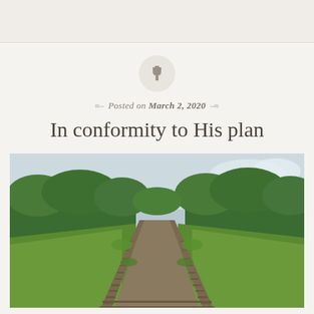[Figure (illustration): Pin/thumbtack icon inside a circular button]
Posted on March 2, 2020
In conformity to His plan
[Figure (photo): Railroad tracks converging into the distance, surrounded by lush green vegetation and trees, with a partly cloudy sky in the background.]